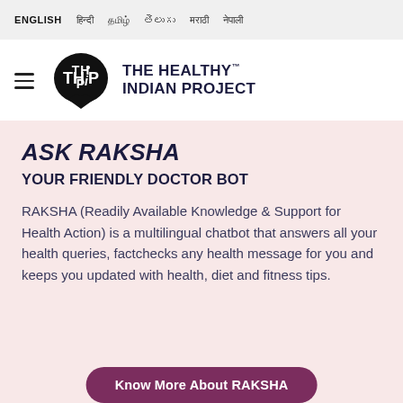ENGLISH  हिन्दी  তামিল  తెలుగు  मराठी  नेपाली
[Figure (logo): THiP - The Healthy Indian Project logo: black rounded speech-bubble shape with white THiP text, followed by bold dark text 'THE HEALTHY™ INDIAN PROJECT']
ASK RAKSHA
YOUR FRIENDLY DOCTOR BOT
RAKSHA (Readily Available Knowledge & Support for Health Action) is a multilingual chatbot that answers all your health queries, factchecks any health message for you and keeps you updated with health, diet and fitness tips.
Know More About RAKSHA